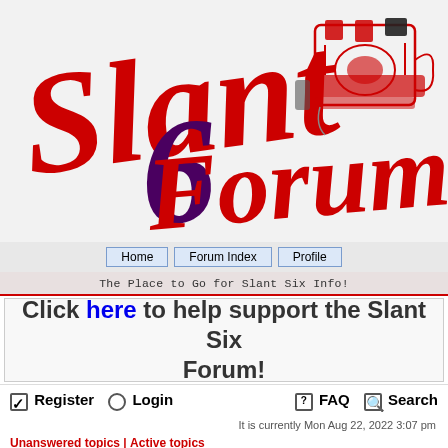[Figure (logo): Slant Six Forum logo with red cursive 'Slant' text, purple/dark cursive '6', red cursive 'Forum' text, and red illustrated engine on white background]
Home | Forum Index | Profile
The Place to Go for Slant Six Info!
Click here to help support the Slant Six Forum!
Register  Login  FAQ  Search
It is currently Mon Aug 22, 2022 3:07 pm
Unanswered topics | Active topics